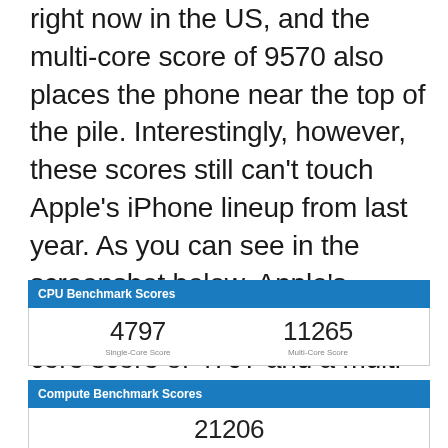right now in the US, and the multi-core score of 9570 also places the phone near the top of the pile. Interestingly, however, these scores still can't touch Apple's iPhone lineup from last year. As you can see in the screenshot below, Apple's iPhone XS racks up a single-core score of 4797 and a multi-core score of 11265. No other smartphone out there right now even comes close to topping the iPhone's performance.
| CPU Benchmark Scores |
| --- |
| 4797 Single-Core Score | 11265 Multi-Core Score |
| Compute Benchmark Scores |
| --- |
| 21206 Metal Score |